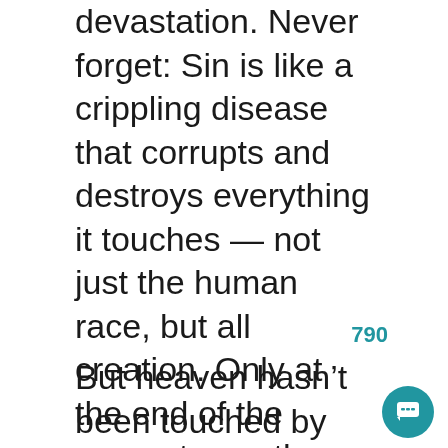devastation. Never forget: Sin is like a crippling disease that corrupts and destroys everything it touches — not just the human race, but all creation. Only at the end of the present age, the Bible says, will “the creation itself … be liberated from its bondage to decay and brought into the glorious freedom (from sin) of the children of God” (Romans 8:21).
But heaven hasn’t been touched by sin, nor will it ever be because heaven is the